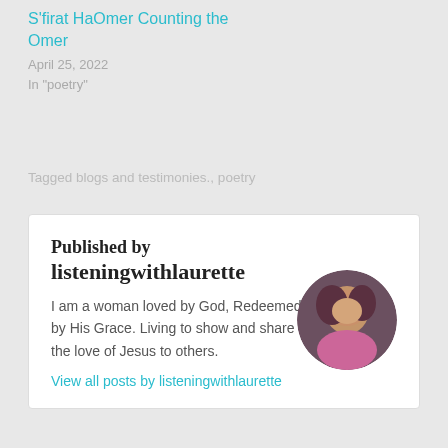S’firat HaOmer Counting the Omer
April 25, 2022
In "poetry"
Tagged blogs and testimonies., poetry
Published by listeningwithlaurette
I am a woman loved by God, Redeemed by His Grace. Living to show and share the love of Jesus to others.
View all posts by listeningwithlaurette